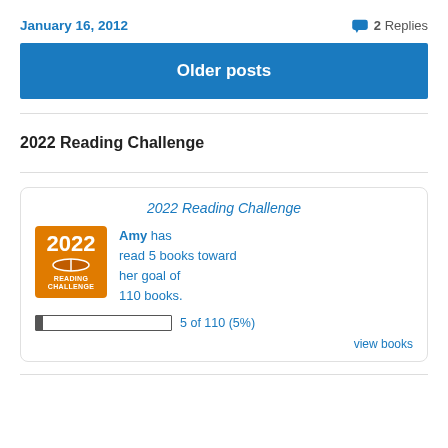January 16, 2012
💬 2 Replies
Older posts
─────────────────────────────────
2022 Reading Challenge
─────────────────────────────────
[Figure (infographic): 2022 Reading Challenge widget showing Amy has read 5 books toward her goal of 110 books. Includes orange badge with '2022 READING CHALLENGE', a progress bar showing 5 of 110 (5%), and a 'view books' link.]
─────────────────────────────────